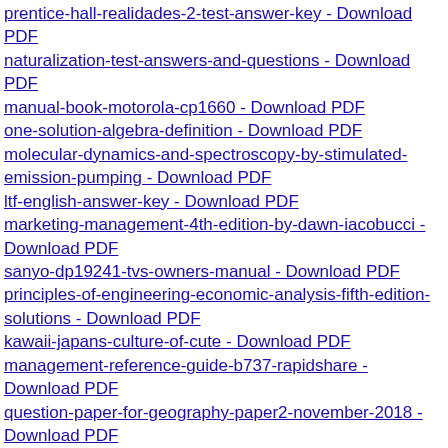prentice-hall-realidades-2-test-answer-key - Download PDF
naturalization-test-answers-and-questions - Download PDF
manual-book-motorola-cp1660 - Download PDF
one-solution-algebra-definition - Download PDF
molecular-dynamics-and-spectroscopy-by-stimulated-emission-pumping - Download PDF
ltf-english-answer-key - Download PDF
marketing-management-4th-edition-by-dawn-iacobucci - Download PDF
sanyo-dp19241-tvs-owners-manual - Download PDF
principles-of-engineering-economic-analysis-fifth-edition-solutions - Download PDF
kawaii-japans-culture-of-cute - Download PDF
management-reference-guide-b737-rapidshare - Download PDF
question-paper-for-geography-paper2-november-2018 - Download PDF
iec-60529-standard - Download PDF
modelling-and-decisions-in-economics-essays-in-honor-of-franz-ferschl-1st-edition - Download PDF
prog-polym-sci-journal - Download PDF
prentice-hall-review-2009-answer-key-chemistry - Download PDF
plate-tectonics-chapter-test-answer-key-sandi - Download PDF
le-design-art-car-hda - Download PDF
love-is-all-around - Download PDF
read-unlimited-books-online-rinciples-of-management-p-c-tripathi-